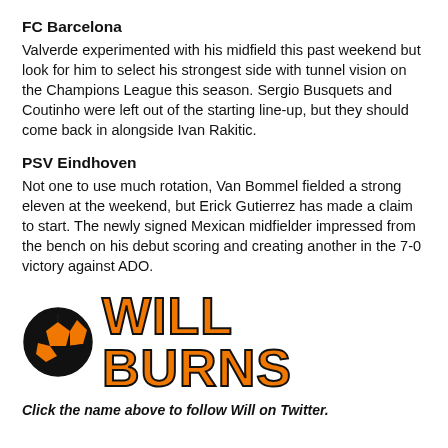FC Barcelona
Valverde experimented with his midfield this past weekend but look for him to select his strongest side with tunnel vision on the Champions League this season. Sergio Busquets and Coutinho were left out of the starting line-up, but they should come back in alongside Ivan Rakitic.
PSV Eindhoven
Not one to use much rotation, Van Bommel fielded a strong eleven at the weekend, but Erick Gutierrez has made a claim to start. The newly signed Mexican midfielder impressed from the bench on his debut scoring and creating another in the 7-0 victory against ADO.
[Figure (logo): Soccer ball icon (black circle with orange pentagon pattern) next to bold orange text reading WILL BURNS with black outline]
Click the name above to follow Will on Twitter.